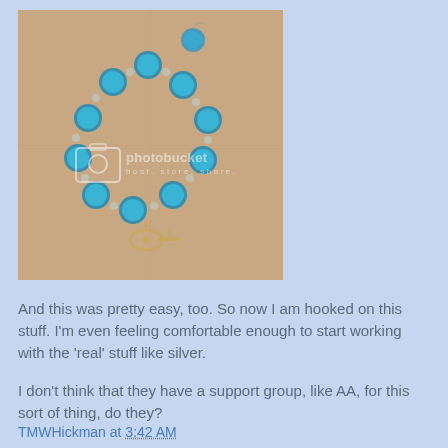[Figure (photo): Photo of a blue beaded bracelet and earring set with silver toggle clasp, displayed on a light surface. Photobucket watermark overlay visible on the image.]
And this was pretty easy, too. So now I am hooked on this stuff. I'm even feeling comfortable enough to start working with the 'real' stuff like silver.
I don't think that they have a support group, like AA, for this sort of thing, do they?
TMWHickman at 3:42 AM